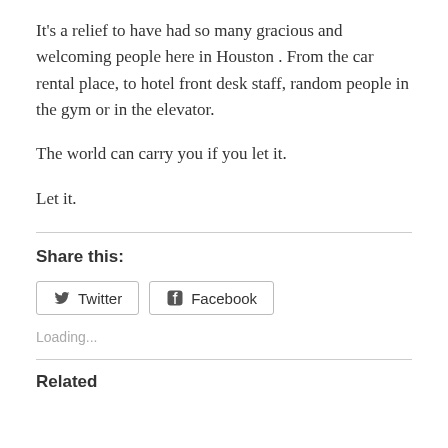It's a relief to have had so many gracious and welcoming people here in Houston . From the car rental place, to hotel front desk staff, random people in the gym or in the elevator.
The world can carry you if you let it.
Let it.
Share this:
[Figure (other): Twitter and Facebook share buttons]
Loading...
Related